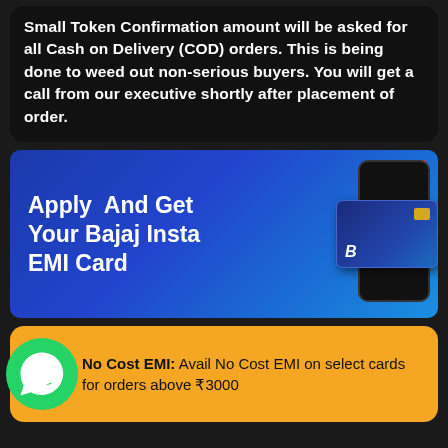Small Token Confirmation amount will be asked for all Cash on Delivery (COD) orders. This is being done to weed out non-serious buyers. You will get a call from our executive shortly after placement of order.
[Figure (infographic): Blue gradient banner advertising Bajaj Insta EMI Card. Text reads 'Apply And Get Your Bajaj Insta EMI Card' with an image of a smartphone and a blue credit card. Small brand label in top right corner.]
No Cost EMI: Avail No Cost EMI on select cards for orders above ₹3000